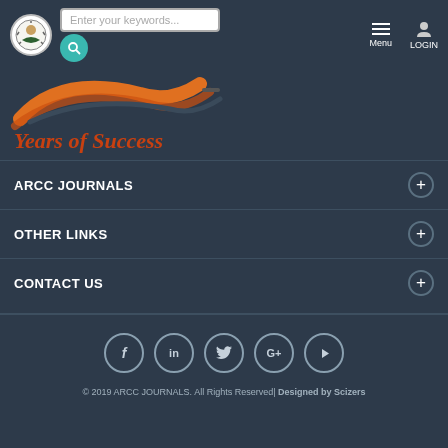[Figure (screenshot): Website header with logo, search bar, hamburger menu, and login button]
[Figure (logo): ARCC Journals logo with orange swoosh curves and minus symbol]
Years of Success
ARCC JOURNALS
OTHER LINKS
CONTACT US
[Figure (infographic): Social media icons row: Facebook, LinkedIn, Twitter, Google+, YouTube]
© 2019 ARCC JOURNALS. All Rights Reserved| Designed by Scizers